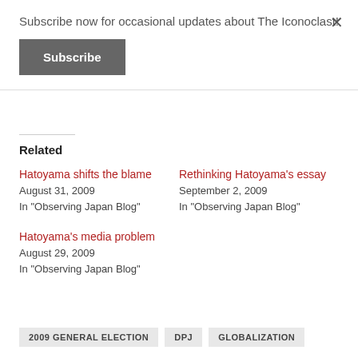Subscribe now for occasional updates about The Iconoclast!
Subscribe
Related
Hatoyama shifts the blame
August 31, 2009
In "Observing Japan Blog"
Rethinking Hatoyama's essay
September 2, 2009
In "Observing Japan Blog"
Hatoyama's media problem
August 29, 2009
In "Observing Japan Blog"
2009 GENERAL ELECTION
DPJ
GLOBALIZATION